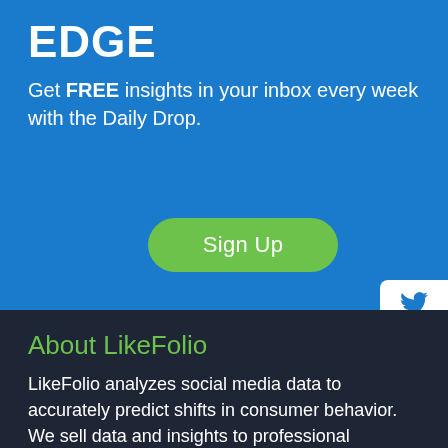EDGE
Get FREE insights in your inbox every week with the Daily Drop.
[Figure (other): Green 'Sign Up' button]
[Figure (other): Social media share panel with Twitter (bird), LinkedIn (in), and Facebook (f) icons]
About LikeFolio
LikeFolio analyzes social media data to accurately predict shifts in consumer behavior. We sell data and insights to professional